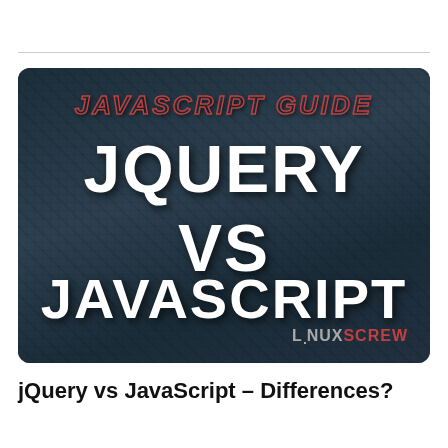[Figure (illustration): Dark teal banner image with keyboard texture background. Top text reads 'JAVASCRIPT GUIDE' in red italic outlined letters. Center text shows 'JQUERY VS JAVASCRIPT' in large bold white uppercase letters. Bottom right shows 'LINUXSCREW' logo in gray and red.]
jQuery vs JavaScript – Differences?